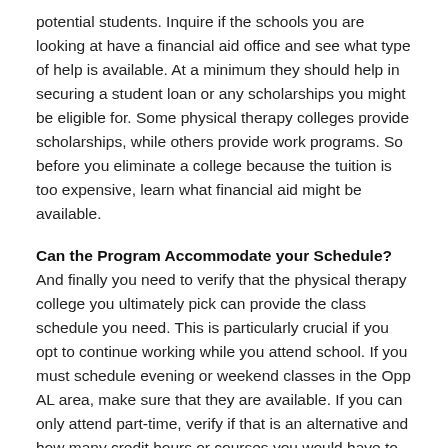potential students. Inquire if the schools you are looking at have a financial aid office and see what type of help is available. At a minimum they should help in securing a student loan or any scholarships you might be eligible for. Some physical therapy colleges provide scholarships, while others provide work programs. So before you eliminate a college because the tuition is too expensive, learn what financial aid might be available.
Can the Program Accommodate your Schedule?
And finally you need to verify that the physical therapy college you ultimately pick can provide the class schedule you need. This is particularly crucial if you opt to continue working while you attend school. If you must schedule evening or weekend classes in the Opp AL area, make sure that they are available. If you can only attend part-time, verify if that is an alternative and how many credit hours or courses you would have to carry. Also, find out what the protocol is for making up any